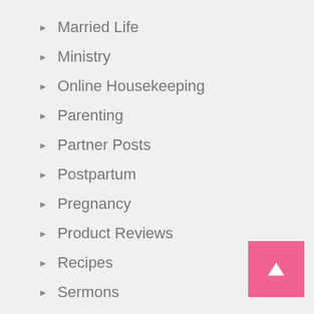Married Life
Ministry
Online Housekeeping
Parenting
Partner Posts
Postpartum
Pregnancy
Product Reviews
Recipes
Sermons
Spiritual Life
Uncategorized